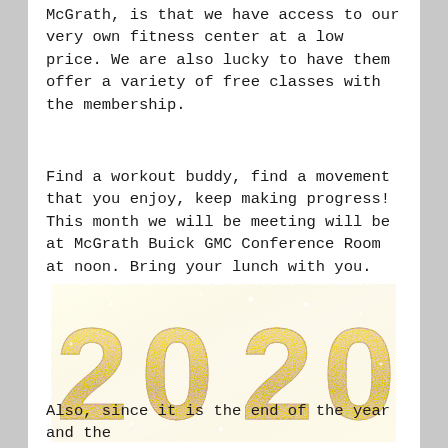McGrath, is that we have access to our very own fitness center at a low price. We are also lucky to have them offer a variety of free classes with the membership.
Find a workout buddy, find a movement that you enjoy, keep making progress! This month we will be meeting will be at McGrath Buick GMC Conference Room at noon. Bring your lunch with you.
[Figure (illustration): Large glitter gold '2020' text on white background]
Also, since it is the end of the year and the